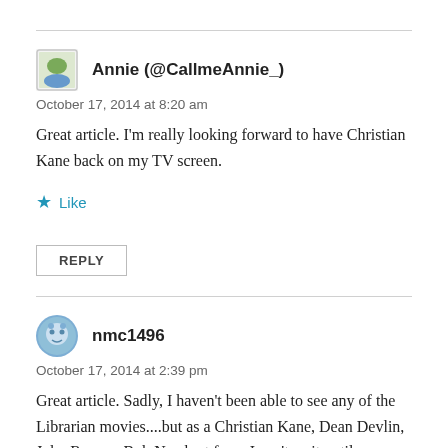[Figure (illustration): Horizontal divider line at top of page]
Annie (@CallmeAnnie_)
October 17, 2014 at 8:20 am
Great article. I'm really looking forward to have Christian Kane back on my TV screen.
★ Like
REPLY
[Figure (illustration): Horizontal divider line between comments]
nmc1496
October 17, 2014 at 2:39 pm
Great article. Sadly, I haven't been able to see any of the Librarian movies....but as a Christian Kane, Dean Devlin, John Rogers, Bob Newhart fan....I can't wait until